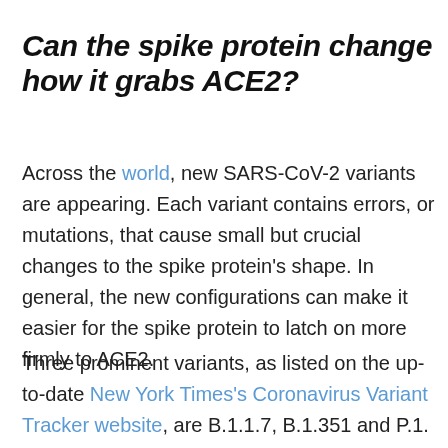Can the spike protein change how it grabs ACE2?
Across the world, new SARS-CoV-2 variants are appearing. Each variant contains errors, or mutations, that cause small but crucial changes to the spike protein's shape. In general, the new configurations can make it easier for the spike protein to latch on more firmly to ACE2.
Three prominent variants, as listed on the up-to-date New York Times's Coronavirus Variant Tracker website, are B.1.1.7, B.1.351 and P.1. Due to the faster rate of infection, in late January of 2021 the